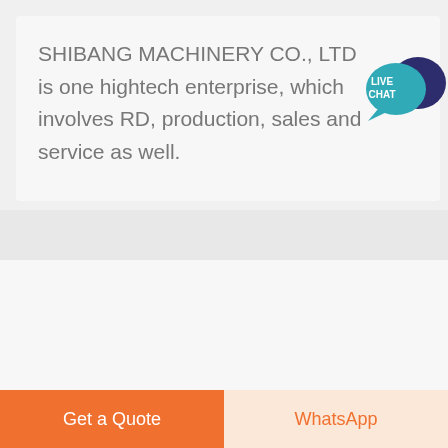SHIBANG MACHINERY CO., LTD is one hightech enterprise, which involves RD, production, sales and service as well.
[Figure (illustration): Live Chat speech bubble icon with teal/dark blue colors and white text LIVE CHAT]
[Figure (photo): Industrial machinery photo showing mining/crushing equipment with conveyor belts and crushers]
[Figure (other): Green scroll-to-top button with white upward arrow]
Get a Quote
WhatsApp